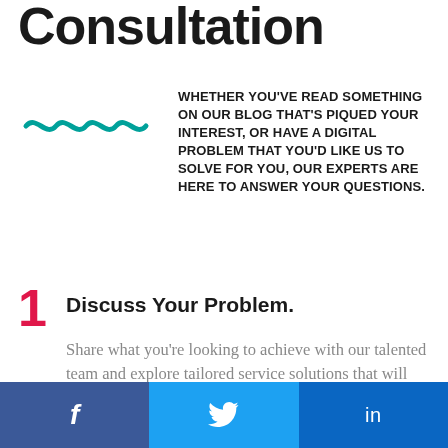Consultation
WHETHER YOU'VE READ SOMETHING ON OUR BLOG THAT'S PIQUED YOUR INTEREST, OR HAVE A DIGITAL PROBLEM THAT YOU'D LIKE US TO SOLVE FOR YOU, OUR EXPERTS ARE HERE TO ANSWER YOUR QUESTIONS.
1. Discuss Your Problem. Share what you're looking to achieve with our talented team and explore tailored service solutions that will deliver the results you're after.
f  Twitter  in